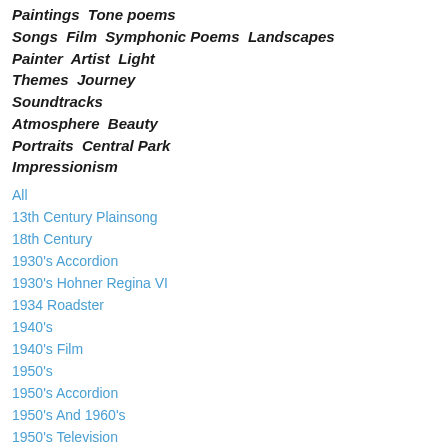Paintings Tone poems Songs Film Symphonic Poems Landscapes Painter Artist Light Themes Journey Soundtracks Atmosphere Beauty Portraits Central Park Impressionism
All
13th Century Plainsong
18th Century
1930's Accordion
1930's Hohner Regina VI
1934 Roadster
1940's
1940's Film
1950's
1950's Accordion
1950's And 1960's
1950's Television
1960's
1964 NY World's Fair